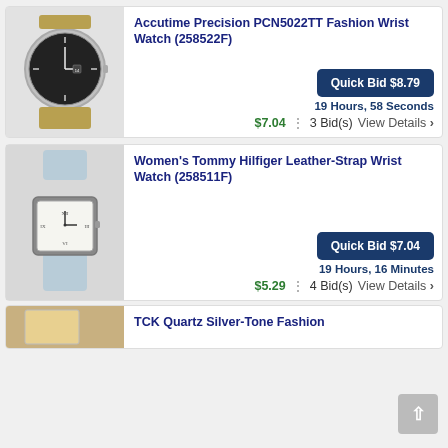[Figure (photo): Accutime Precision wrist watch with round dark face and two-tone metal bracelet]
Accutime Precision PCN5022TT Fashion Wrist Watch (258522F)
Quick Bid $8.79
19 Hours, 58 Seconds
$7.04  :  3 Bid(s)   View Details ›
[Figure (photo): Women's Tommy Hilfiger rectangular watch with white dial and light blue leather strap]
Women's Tommy Hilfiger Leather-Strap Wrist Watch (258511F)
Quick Bid $7.04
19 Hours, 16 Minutes
$5.29  :  4 Bid(s)   View Details ›
[Figure (photo): Partial view of a watch product image]
TCK Quartz Silver-Tone Fashion